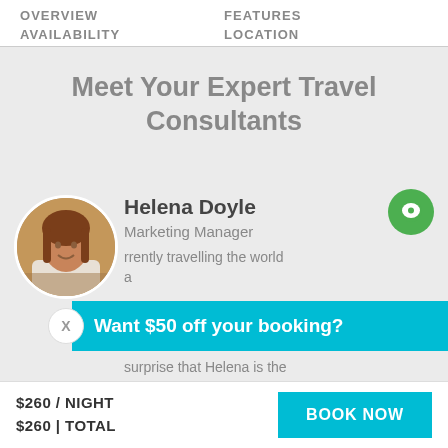OVERVIEW    FEATURES
AVAILABILITY    LOCATION
Meet Your Expert Travel Consultants
Helena Doyle
Marketing Manager
currently travelling the world a… surprise that Helena is the
Want $50 off your booking?
$260 / NIGHT
$260 | TOTAL
BOOK NOW